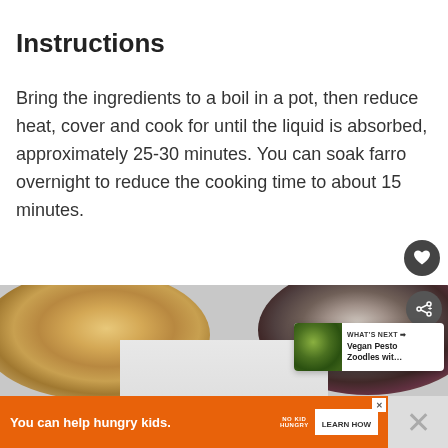Instructions
Bring the ingredients to a boil in a pot, then reduce heat, cover and cook for until the liquid is absorbed, approximately 25-30 minutes. You can soak farro overnight to reduce the cooking time to about 15 minutes.
[Figure (photo): Overhead photo of grains/farro in bowls on a light surface, with a 'What's Next' card showing Vegan Pesto Zoodles, share button, and heart button overlaid]
[Figure (infographic): Orange advertisement banner: 'You can help hungry kids.' with No Kid Hungry logo and LEARN HOW button]